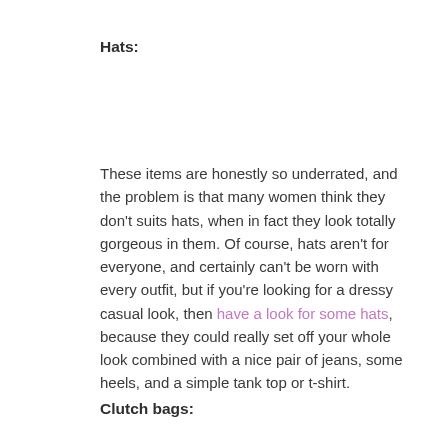Hats:
These items are honestly so underrated, and the problem is that many women think they don't suits hats, when in fact they look totally gorgeous in them. Of course, hats aren't for everyone, and certainly can't be worn with every outfit, but if you're looking for a dressy casual look, then have a look for some hats, because they could really set off your whole look combined with a nice pair of jeans, some heels, and a simple tank top or t-shirt.
Clutch bags: